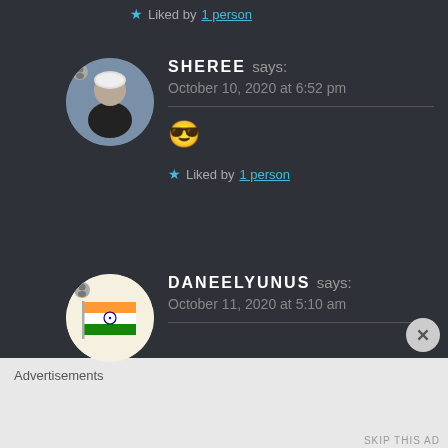★ Liked by 1 person
[Figure (photo): Circular avatar photo of a person wearing a helmet on a bicycle, dark background]
SHEREE says:
October 10, 2020 at 6:52 pm
😎
★ Liked by 1 person
[Figure (photo): Circular avatar showing Indian flag with Ashoka Chakra]
DANEELYUNUS says:
October 11, 2020 at 5:10 am
Advertisements